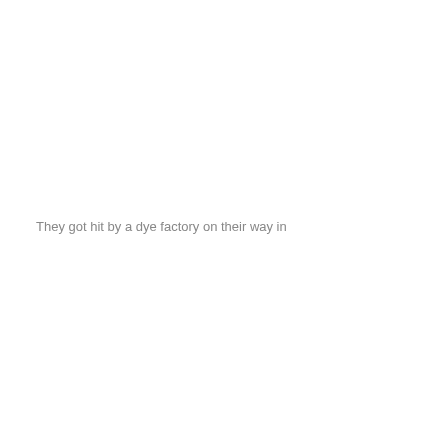They got hit by a dye factory on their way in